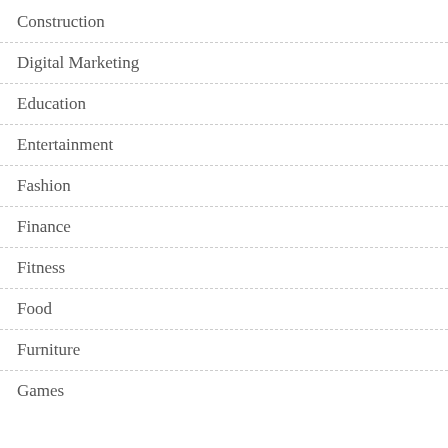Construction
Digital Marketing
Education
Entertainment
Fashion
Finance
Fitness
Food
Furniture
Games